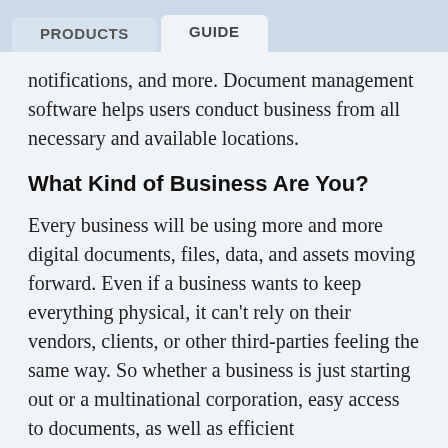PRODUCTS | GUIDE
notifications, and more. Document management software helps users conduct business from all necessary and available locations.
What Kind of Business Are You?
Every business will be using more and more digital documents, files, data, and assets moving forward. Even if a business wants to keep everything physical, it can't rely on their vendors, clients, or other third-parties feeling the same way. So whether a business is just starting out or a multinational corporation, easy access to documents, as well as efficient communication and